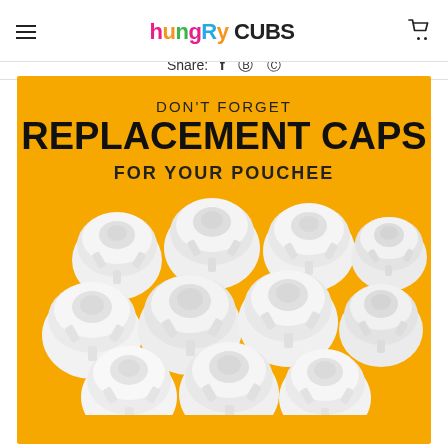hungry CUBS
Share: f p ©
[Figure (photo): Product promotional image on yellow/golden background. Text reads: DON'T FORGET REPLACEMENT CAPS FOR YOUR POUCHEE, with a pile of white plastic replacement caps shown below the text.]